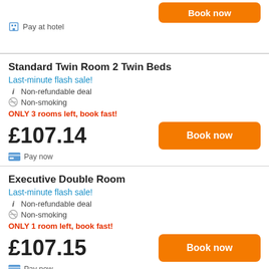Pay at hotel
Standard Twin Room 2 Twin Beds
Last-minute flash sale!
Non-refundable deal
Non-smoking
ONLY 3 rooms left, book fast!
£107.14
Pay now
Executive Double Room
Last-minute flash sale!
Non-refundable deal
Non-smoking
ONLY 1 room left, book fast!
£107.15
Pay now
Executive Double Room